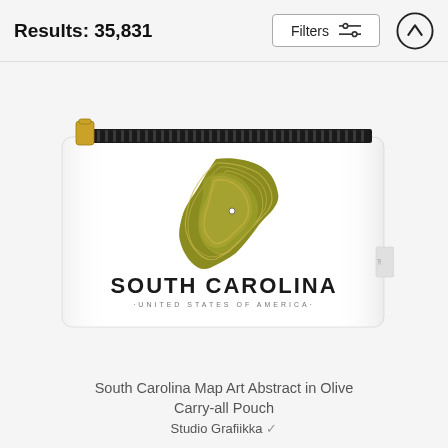Results: 35,831
[Figure (photo): A white carry-all pouch with a black zipper and gold zipper pull, featuring an olive/yellow-green abstract topographic map art shaped like South Carolina. Text on the pouch reads 'SOUTH CAROLINA' in bold black letters and '·UNITED STATES OF AMERICA·' in smaller spaced letters below.]
South Carolina Map Art Abstract in Olive Carry-all Pouch
Studio Grafiikka